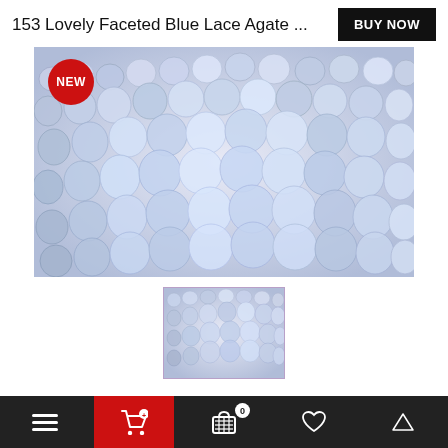153 Lovely Faceted Blue Lace Agate ...
[Figure (photo): Close-up photo of multiple strands of blue lace agate faceted beads, pale blue/lavender color, with a NEW badge overlay in red circle]
[Figure (photo): Thumbnail photo of blue lace agate beads strands, smaller version]
Navigation bar with menu, cart (0), bag, heart, and up arrow icons